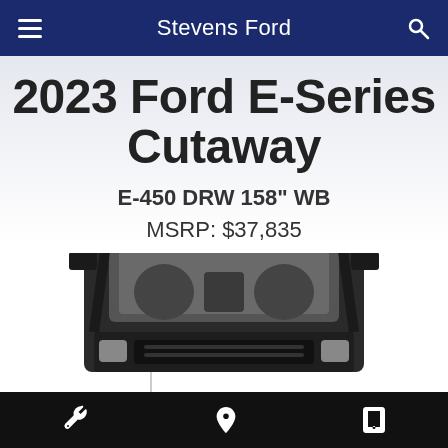Stevens Ford
2023 Ford E-Series Cutaway
E-450 DRW 158" WB
MSRP: $37,835
[Figure (photo): Front view of a 2023 Ford E-Series Cutaway van, black and white image showing the front cab]
Wrench icon, Location pin icon, Phone icon